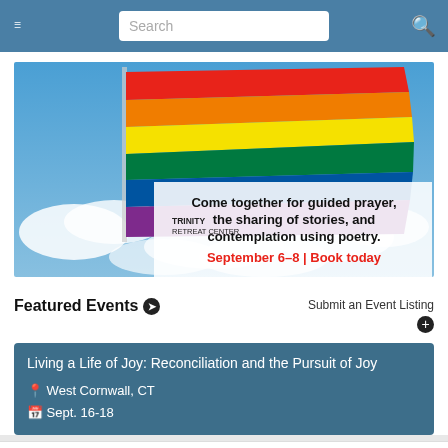Navigation bar with hamburger menu, Search input, and search icon
[Figure (photo): Rainbow pride flag against a blue cloudy sky, with Trinity Retreat Center advertisement text: 'Come together for guided prayer, the sharing of stories, and contemplation using poetry. September 6-8 | Book today']
Featured Events ➔
Submit an Event Listing
Living a Life of Joy: Reconciliation and the Pursuit of Joy
West Cornwall, CT
Sept. 16-18